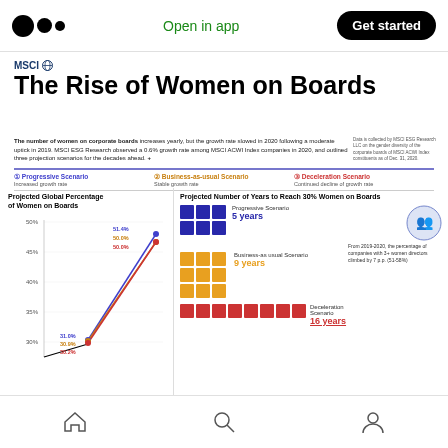Open in app | Get started
The Rise of Women on Boards
The number of women on corporate boards increases yearly, but the growth rate slowed in 2020 following a moderate uptick in 2019. MSCI ESG Research observed a 0.6% growth rate among MSCI ACWI Index companies in 2020, and outlined three projection scenarios for the decades ahead.
MSCI
1 Progressive Scenario - Increased growth rate | 2 Business-as-usual Scenario - Stable growth rate | 3 Deceleration Scenario - Continued decline of growth rate
[Figure (line-chart): Projected Global Percentage of Women on Boards]
[Figure (infographic): Three scenarios shown as colored squares grids: Progressive Scenario 5 years (blue, 2x3 grid), Business-as-usual Scenario 9 years (yellow, 3x3 grid), Deceleration Scenario 16 years (pink, 2x8 row). Circle icon: From 2019-2020, the percentage of companies with 3+ women directors climbed by 7 p.p. (51-58%)]
Home | Search | Profile